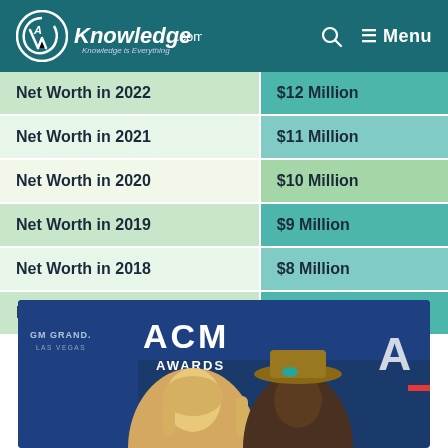AKnowledge.com — Menu
| Category | Value |
| --- | --- |
| Net Worth in 2022 | $12 Million |
| Net Worth in 2021 | $11 Million |
| Net Worth in 2020 | $10 Million |
| Net Worth in 2019 | $9 Million |
| Net Worth in 2018 | $8 Million |
| Net Worth in 2017 | $7 Million |
[Figure (photo): Two people at ACM Awards at GM Grand Las Vegas; a woman with blonde hair and a man wearing a cowboy hat with turquoise decoration, standing in front of ACM Awards banner]